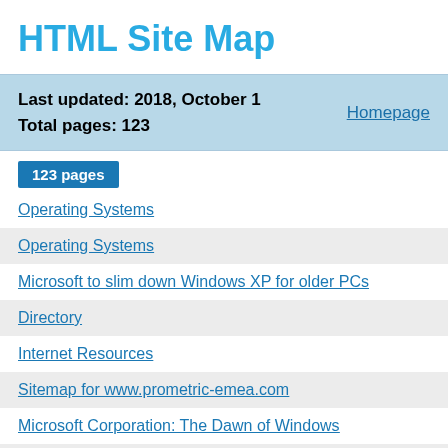HTML Site Map
Last updated: 2018, October 1
Total pages: 123
Homepage
123 pages
Operating Systems
Operating Systems
Microsoft to slim down Windows XP for older PCs
Directory
Internet Resources
Sitemap for www.prometric-emea.com
Microsoft Corporation: The Dawn of Windows
Mac OS X Maximum Security
Linux, the Ultimate Unix